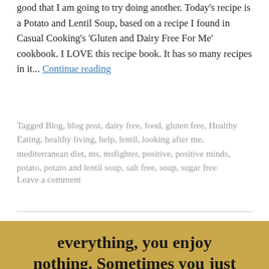good that I am going to try doing another. Today's recipe is a Potato and Lentil Soup, based on a recipe I found in Casual Cooking's 'Gluten and Dairy Free For Me' cookbook. I LOVE this recipe book. It has so many recipes in it... Continue reading
Tagged Blog, blog post, dairy free, food, gluten free, Healthy Eating, healthy living, help, lentil, looking after me, mediterranean diet, ms, msfighter, positive, positive minds, potato, potato and lentil soup, salt free, soup, sugar free Leave a comment
[Figure (other): Motivational quote image with golden/tan background showing text: 'everything, you enjoy nothing. Sometimes you just']